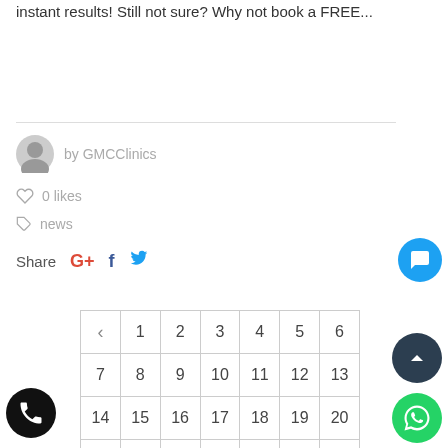instant results! Still not sure? Why not book a FREE...
by GMCClinics
0 likes
news
Share
[Figure (other): Calendar grid showing dates 1-27 with navigation arrow]
[Figure (other): Chat bubble icon button (blue circle)]
[Figure (other): Scroll up arrow button (dark circle)]
[Figure (other): WhatsApp button (green circle)]
[Figure (other): Phone call button (black circle)]